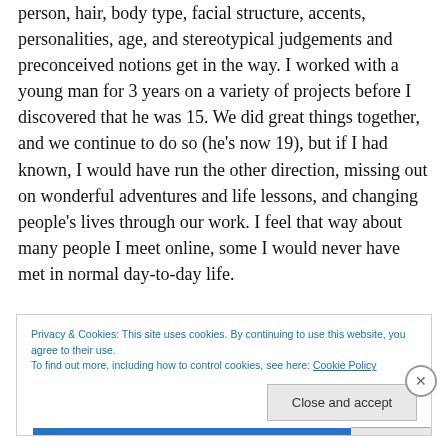person, hair, body type, facial structure, accents, personalities, age, and stereotypical judgements and preconceived notions get in the way. I worked with a young man for 3 years on a variety of projects before I discovered that he was 15. We did great things together, and we continue to do so (he's now 19), but if I had known, I would have run the other direction, missing out on wonderful adventures and life lessons, and changing people's lives through our work. I feel that way about many people I meet online, some I would never have met in normal day-to-day life.
Privacy & Cookies: This site uses cookies. By continuing to use this website, you agree to their use. To find out more, including how to control cookies, see here: Cookie Policy
Close and accept